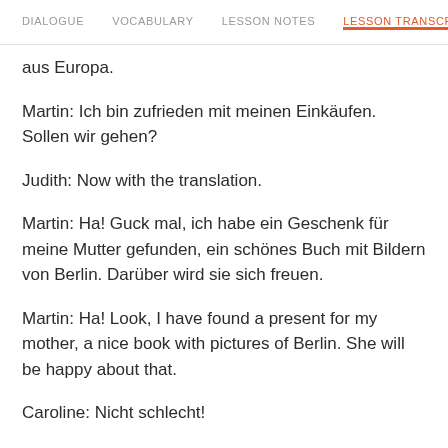DIALOGUE  VOCABULARY  LESSON NOTES  LESSON TRANSCRIPT
aus Europa.
Martin: Ich bin zufrieden mit meinen Einkäufen. Sollen wir gehen?
Judith: Now with the translation.
Martin: Ha! Guck mal, ich habe ein Geschenk für meine Mutter gefunden, ein schönes Buch mit Bildern von Berlin. Darüber wird sie sich freuen.
Martin: Ha! Look, I have found a present for my mother, a nice book with pictures of Berlin. She will be happy about that.
Caroline: Nicht schlecht!